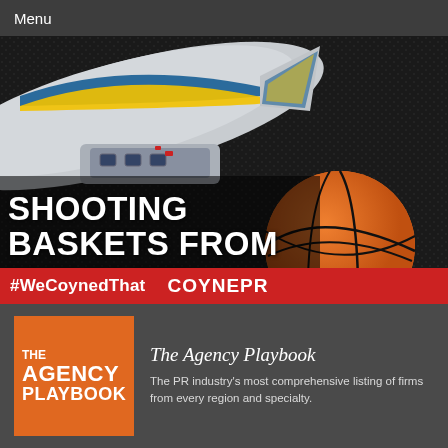Menu
[Figure (photo): Goodyear blimp underbelly viewed from below with a basketball in the foreground, text overlay reading SHOOTING BASKETS FROM THE BLIMP, red bar at bottom with #WeCoynedThat and COYNEPR logo]
The Agency Playbook
The PR industry's most comprehensive listing of firms from every region and specialty.